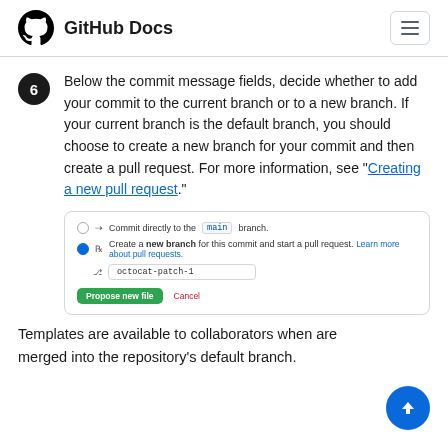GitHub Docs
6. Below the commit message fields, decide whether to add your commit to the current branch or to a new branch. If your current branch is the default branch, you should choose to create a new branch for your commit and then create a pull request. For more information, see "Creating a new pull request."
[Figure (screenshot): GitHub UI screenshot showing two radio options: 'Commit directly to the main branch' (unselected) and 'Create a new branch for this commit and start a pull request. Learn more about pull requests.' (selected, with input field showing 'octocat-patch-1'). Below are 'Propose new file' and 'Cancel' buttons.]
Templates are available to collaborators when are merged into the repository's default branch.